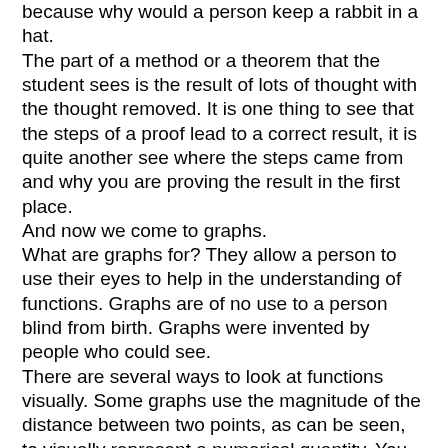because why would a person keep a rabbit in a hat. The part of a method or a theorem that the student sees is the result of lots of thought with the thought removed. It is one thing to see that the steps of a proof lead to a correct result, it is quite another see where the steps came from and why you are proving the result in the first place. And now we come to graphs. What are graphs for? They allow a person to use their eyes to help in the understanding of functions. Graphs are of no use to a person blind from birth. Graphs were invented by people who could see. There are several ways to look at functions visually. Some graphs use the magnitude of the distance between two points, as can be seen, to visually represent a numerical quantity. You see that points A and B are farther apart than points C and D. Another method is to represent a number as a color. This is the method used to tell when steel is hot enough to pour. Film comes in different color temperatures. So, the point of the graph is to see… a function and the basic idea is to represent numbers in the domain and in the range by the size of the separation between two points. But to understand graphs, the student has to understand